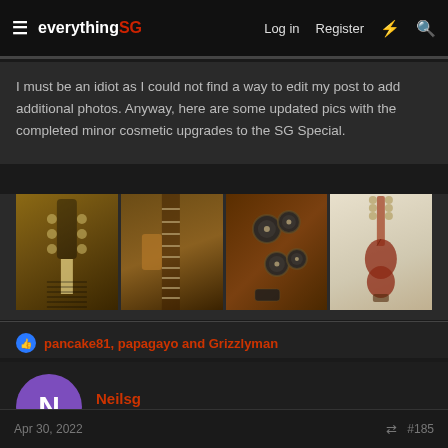everything SG — Log in Register
I must be an idiot as I could not find a way to edit my post to add additional photos. Anyway, here are some updated pics with the completed minor cosmetic upgrades to the SG Special.
[Figure (photo): Four guitar photos in a grid: headstock close-up, fretboard close-up, control knobs close-up, and full guitar standing upright]
pancake81, papagayo and Grizzlyman
Neilsg
New Member
Apr 30, 2022  #185